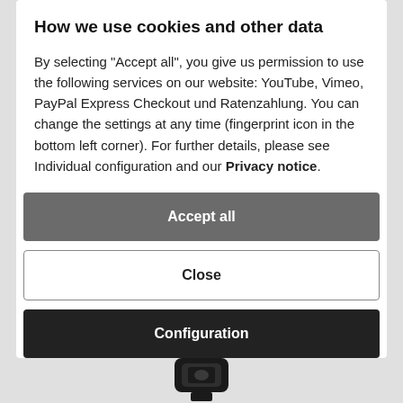How we use cookies and other data
By selecting "Accept all", you give us permission to use the following services on our website: YouTube, Vimeo, PayPal Express Checkout und Ratenzahlung. You can change the settings at any time (fingerprint icon in the bottom left corner). For further details, please see Individual configuration and our Privacy notice.
[Figure (screenshot): Accept all button - dark grey rounded rectangle button with white bold text]
[Figure (screenshot): Close button - white rounded rectangle button with dark border and bold text]
[Figure (screenshot): Configuration button - black rounded rectangle button with white bold text]
[Figure (photo): Partial image of a black metal buckle or clasp at the bottom of the page]